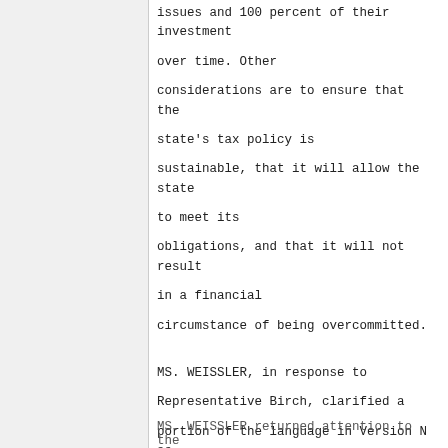issues and 100 percent of their investment over time. Other considerations are to ensure that the state's tax policy is sustainable, that it will allow the state to meet its obligations, and that it will not result in a financial circumstance of being overcommitted.
MS. WEISSLER, in response to Representative Birch, clarified a portion of the language in Version N as described in the comparison document.
2:55:12 PM
MS. WEISSLER returned attention to the